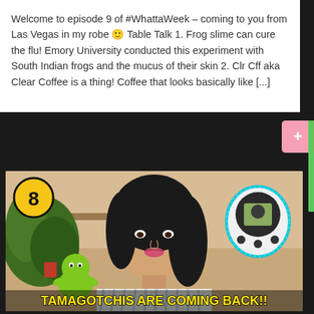Welcome to episode 9 of #WhattaWeek – coming to you from Las Vegas in my robe 🙂 Table Talk 1. Frog slime can cure the flu! Emory University conducted this experiment with South Indian frogs and the mucus of their skin 2. Clr Cff aka Clear Coffee is a thing! Coffee that looks basically like [...]
[Figure (screenshot): Video thumbnail showing a young woman with dark hair in an off-shoulder striped top with an excited expression. Overlaid graphics include: a yellow badge with number 8 in top-left, a Tamagotchi device in top-right, a green slime character in bottom-left, and yellow bold text reading 'TAMAGOTCHIS ARE COMING BACK!!' at the bottom.]